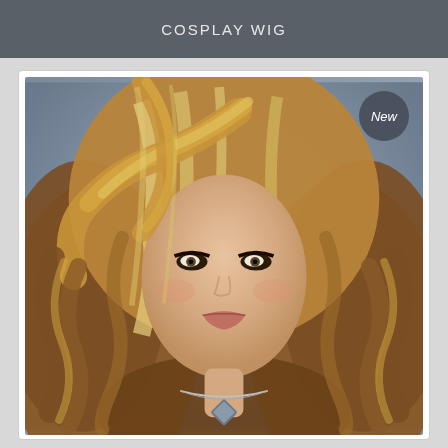COSPLAY WIG
[Figure (photo): Product photo of a long wavy blonde/brunette highlighted cosplay wig worn on a mannequin head with a 'New' badge in the top right corner. The wig features voluminous curls, side-swept bangs, and warm blonde highlights over a medium brown base. The mannequin wears a decorative necklace with a dark heart-shaped pendant.]